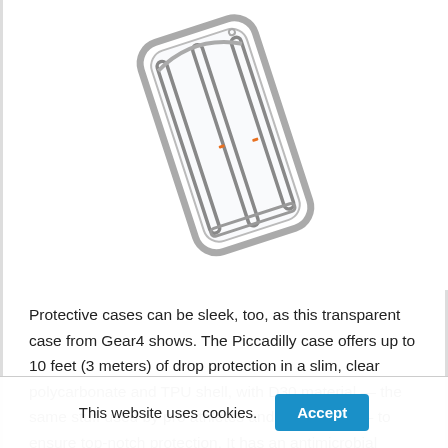[Figure (photo): Transparent phone case (Gear4 Piccadilly) shown at an angle against white background, with clear polycarbonate frame and visible internal metal-look bumper rails.]
Protective cases can be sleek, too, as this transparent case from Gear4 shows. The Piccadilly case offers up to 10 feet (3 meters) of drop protection in a slim, clear polycarbonate and TPU shell, with D30 material — the same stuff used by pro athletes and the military — to ensure top-notch protection. It has an antimicrobial coating that repels bacteria, a scratch-resistant finish, and a UV coating. Choose from clear with a black, blue, or rose gold bumper.
This website uses cookies.